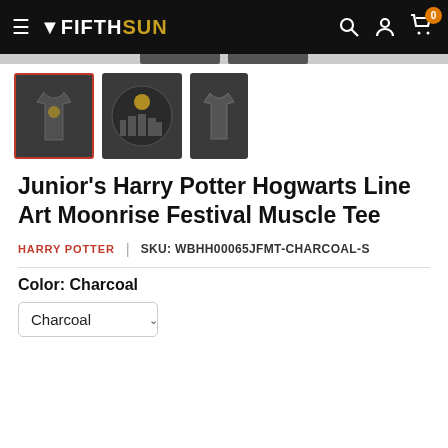Fifth Sun
[Figure (photo): Three product thumbnail images of a dark charcoal muscle tee: first selected with red border, second showing Hogwarts castle circle print, third showing back of shirt]
Junior's Harry Potter Hogwarts Line Art Moonrise Festival Muscle Tee
HARRY POTTER | SKU: WBHH00065JFMT-CHARCOAL-S
Color: Charcoal
Charcoal